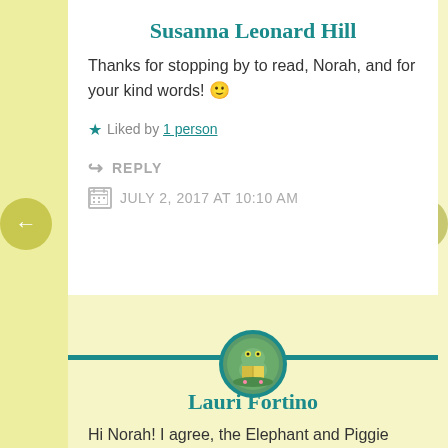Susanna Leonard Hill
Thanks for stopping by to read, Norah, and for your kind words! 🙂
★ Liked by 1 person
↪ REPLY
JULY 2, 2017 AT 10:10 AM
[Figure (illustration): Avatar of a frog reading a book, circular with teal border]
Lauri Fortino
Hi Norah! I agree, the Elephant and Piggie series is hilarious! I marvel at how few words he uses to tell the story...